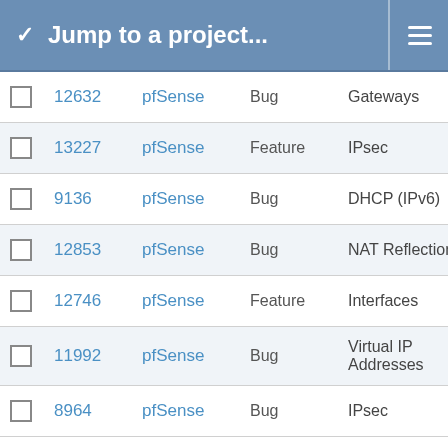Jump to a project...
|  | ID | Project | Type | Category |
| --- | --- | --- | --- | --- |
|  | 12632 | pfSense | Bug | Gateways |
|  | 13227 | pfSense | Feature | IPsec |
|  | 9136 | pfSense | Bug | DHCP (IPv6) |
|  | 12853 | pfSense | Bug | NAT Reflection |
|  | 12746 | pfSense | Feature | Interfaces |
|  | 11992 | pfSense | Bug | Virtual IP Addresses |
|  | 8964 | pfSense | Bug | IPsec |